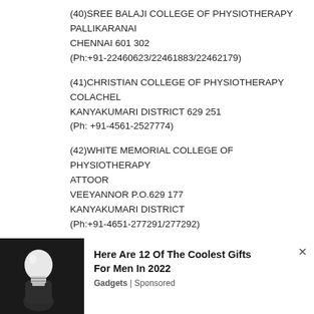(40)SREE BALAJI COLLEGE OF PHYSIOTHERAPY
PALLIKARANAI
CHENNAI 601 302
(Ph:+91-22460623/22461883/22462179)
(41)CHRISTIAN COLLEGE OF PHYSIOTHERAPY
COLACHEL
KANYAKUMARI DISTRICT 629 251
(Ph: +91-4561-2527774)
(42)WHITE MEMORIAL COLLEGE OF PHYSIOTHERAPY
ATTOOR
VEEYANNOR P.O.629 177
KANYAKUMARI DISTRICT
(Ph:+91-4651-277291/277292)
[Figure (photo): Advertisement banner: photo of a light bulb held by a hand on the left, white text area on the right with headline 'Here Are 12 Of The Coolest Gifts For Men In 2022' and source 'Gadgets | Sponsored', with a close (x) button]